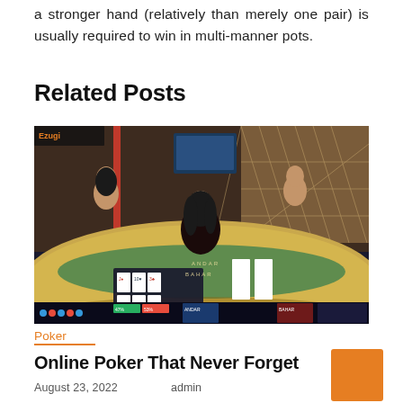a stronger hand (relatively than merely one pair) is usually required to win in multi-manner pots.
Related Posts
[Figure (photo): Screenshot of an online live casino card game (Andar Bahar) showing a female dealer at a casino table with playing cards and a game interface overlay.]
Poker
Online Poker That Never Forget
August 23, 2022    admin